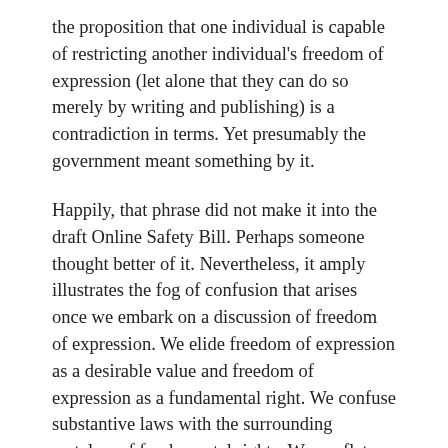the proposition that one individual is capable of restricting another individual's freedom of expression (let alone that they can do so merely by writing and publishing) is a contradiction in terms. Yet presumably the government meant something by it.
Happily, that phrase did not make it into the draft Online Safety Bill. Perhaps someone thought better of it. Nevertheless, it amply illustrates the fog of confusion that arises once we embark on a discussion of freedom of expression. We elide freedom of expression as a desirable value and freedom of expression as a fundamental right. We confuse substantive laws with the surrounding metalaw of fundamental rights. We conflate shields and swords. We employ the same terms to describe protection from state coercion and using state coercion as an instrument.
As a result, discussions of freedom of expression tend to